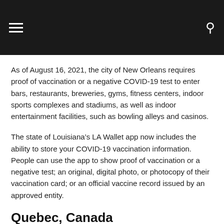[navigation header with hamburger menu and search icon]
As of August 16, 2021, the city of New Orleans requires proof of vaccination or a negative COVID-19 test to enter bars, restaurants, breweries, gyms, fitness centers, indoor sports complexes and stadiums, as well as indoor entertainment facilities, such as bowling alleys and casinos.
The state of Louisiana’s LA Wallet app now includes the ability to store your COVID-19 vaccination information. People can use the app to show proof of vaccination or a negative test; an original, digital photo, or photocopy of their vaccination card; or an official vaccine record issued by an approved entity.
Quebec, Canada
As of September 1, 2021, Quebecers (and those visiting the destination) must show proof of vaccination to enter establishments like bars, restaurants, and sports venues